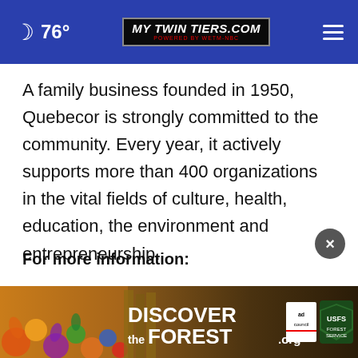76° | MYTWINTIERS.COM
A family business founded in 1950, Quebecor is strongly committed to the community. Every year, it actively supports more than 400 organizations in the vital fields of culture, health, education, the environment and entrepreneurship.
For more information:
Rogers Communications media cont...
1-844-...
[Figure (screenshot): Advertisement banner for DiscovertheForest.org with Ad Council and US Forest Service logos]